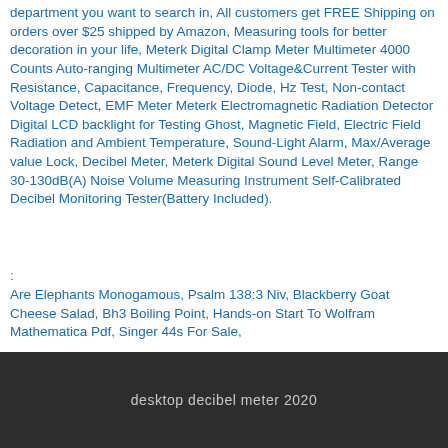department you want to search in, All customers get FREE Shipping on orders over $25 shipped by Amazon, Measuring tools for better decoration in your life, Meterk Digital Clamp Meter Multimeter 4000 Counts Auto-ranging Multimeter AC/DC Voltage&Current Tester with Resistance, Capacitance, Frequency, Diode, Hz Test, Non-contact Voltage Detect, EMF Meter Meterk Electromagnetic Radiation Detector Digital LCD backlight for Testing Ghost, Magnetic Field, Electric Field Radiation and Ambient Temperature, Sound-Light Alarm, Max/Average value Lock, Decibel Meter, Meterk Digital Sound Level Meter, Range 30-130dB(A) Noise Volume Measuring Instrument Self-Calibrated Decibel Monitoring Tester(Battery Included).
:
Are Elephants Monogamous, Psalm 138:3 Niv, Blackberry Goat Cheese Salad, Bh3 Boiling Point, Hands-on Start To Wolfram Mathematica Pdf, Singer 44s For Sale,
desktop decibel meter 2020